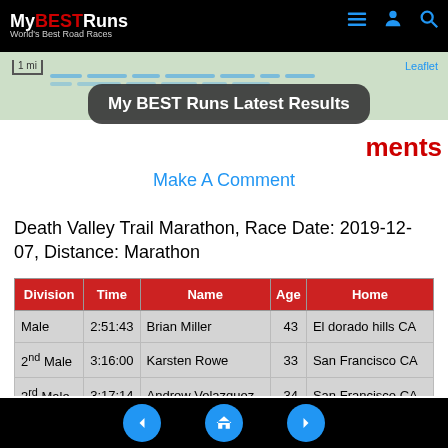MyBESTRuns - World's Best Road Races
[Figure (screenshot): Map strip showing route with dashed lines]
My BEST Runs Latest Results
Comments
Make A Comment
Death Valley Trail Marathon, Race Date: 2019-12-07, Distance: Marathon
| Division | Time | Name | Age | Home |
| --- | --- | --- | --- | --- |
| Male | 2:51:43 | Brian Miller | 43 | El dorado hills CA |
| 2nd Male | 3:16:00 | Karsten Rowe | 33 | San Francisco CA |
| 3rd Male | 3:17:14 | Andrew Velazquez | 34 | San Francisco CA |
Navigation: previous, home, next